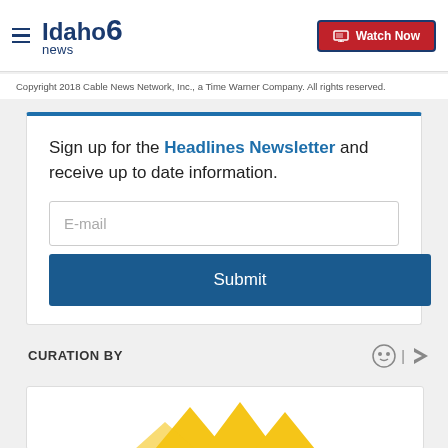Idaho News 6 — Watch Now
Copyright 2018 Cable News Network, Inc., a Time Warner Company. All rights reserved.
Sign up for the Headlines Newsletter and receive up to date information.
CURATION BY